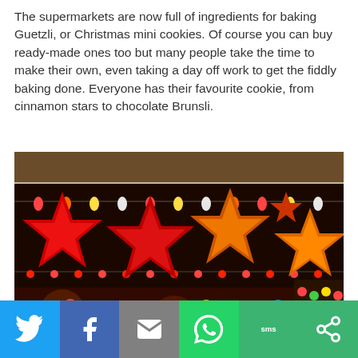The supermarkets are now full of ingredients for baking Guetzli, or Christmas mini cookies. Of course you can buy ready-made ones too but many people take the time to make their own, even taking a day off work to get the fiddly baking done. Everyone has their favourite cookie, from cinnamon stars to chocolate Brunsli.
[Figure (photo): A Christmas market stall decorated with red and orange paper star lanterns hanging from strings of lights, with colourful ornaments and merchandise below.]